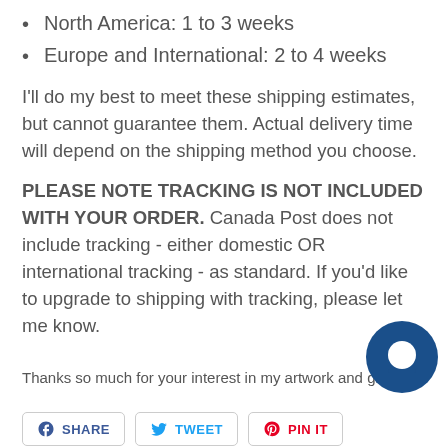North America: 1 to 3 weeks
Europe and International: 2 to 4 weeks
I'll do my best to meet these shipping estimates, but cannot guarantee them. Actual delivery time will depend on the shipping method you choose.
PLEASE NOTE TRACKING IS NOT INCLUDED WITH YOUR ORDER. Canada Post does not include tracking - either domestic OR international tracking - as standard. If you'd like to upgrade to shipping with tracking, please let me know.
Thanks so much for your interest in my artwork and gifts!